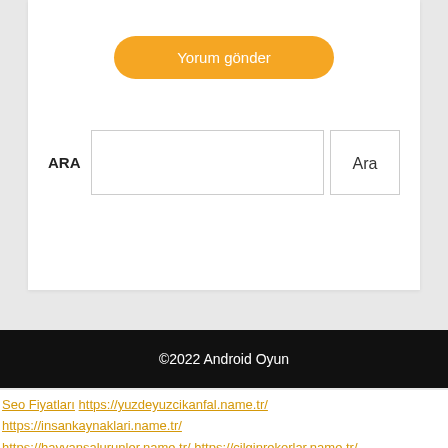Yorum gönder
ARA
Ara
©2022 Android Oyun
Seo Fiyatları https://yuzdeyuzcikanfal.name.tr/ https://insankaynaklari.name.tr/ https://hayvansalurunler.name.tr/ https://cilginrekorlar.name.tr/ https://projecizim.name.tr/ Heets Sigara Fiyat takipçi satın al